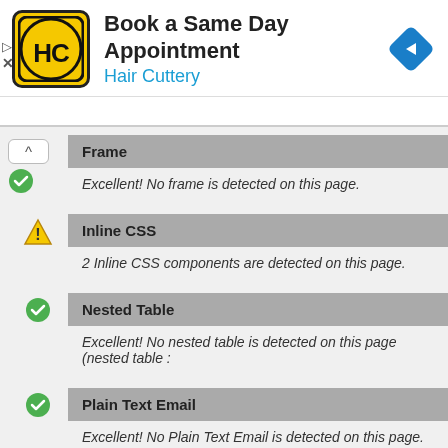[Figure (screenshot): Hair Cuttery advertisement banner with logo, title 'Book a Same Day Appointment', subtitle 'Hair Cuttery', and navigation arrow icon. Below are browser extension diagnostic rows for Frame, Inline CSS, Nested Table, and Plain Text Email checks with pass/warning icons.]
Frame
Excellent! No frame is detected on this page.
Inline CSS
2 Inline CSS components are detected on this page.
Nested Table
Excellent! No nested table is detected on this page (nested table :
Plain Text Email
Excellent! No Plain Text Email is detected on this page.